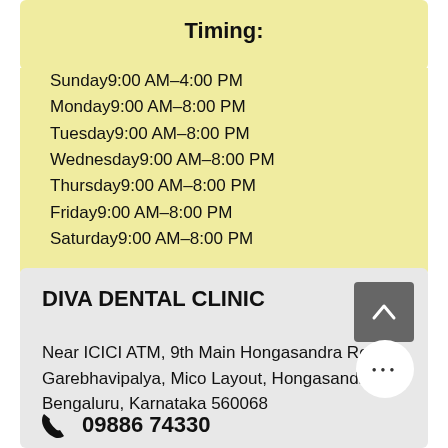Timing:
Sunday9:00 AM–4:00 PM
Monday9:00 AM–8:00 PM
Tuesday9:00 AM–8:00 PM
Wednesday9:00 AM–8:00 PM
Thursday9:00 AM–8:00 PM
Friday9:00 AM–8:00 PM
Saturday9:00 AM–8:00 PM
DIVA DENTAL CLINIC
Near ICICI ATM, 9th Main Hongasandra Road Garebhavipalya, Mico Layout, Hongasandra, Bengaluru, Karnataka 560068
09866 74330